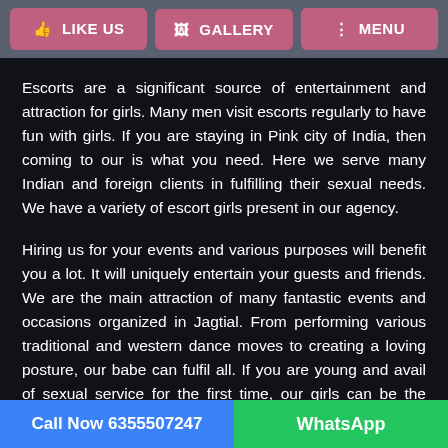LIKE US | GALLERY | MENU
Escorts are a significant source of entertainment and attraction for girls. Many men visit escorts regularly to have fun with girls. If you are staying in Pink city of India, then coming to our is what you need. Here we serve many Indian and foreign clients in fulfilling their sexual needs. We have a variety of escort girls present in our agency.
Hiring us for your events and various purposes will benefit you a lot. It will uniquely entertain your guests and friends. We are the main attraction of many fantastic events and occasions organized in Jagtial. From performing various traditional and western dance moves to creating a loving posture, our babe can fulfil all. If you are young and avail of sexual service for the first time, our girls can be the perfect mentor. Every middle-class man to high-class man is incredibly welcome to our escorts. You can visit our escorts
Call Now 6355507247 | WhatsApp